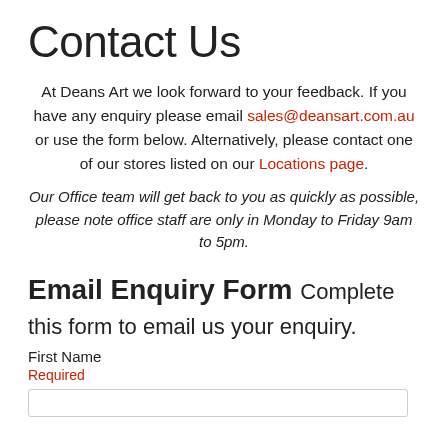Contact Us
At Deans Art we look forward to your feedback. If you have any enquiry please email sales@deansart.com.au or use the form below. Alternatively, please contact one of our stores listed on our Locations page.
Our Office team will get back to you as quickly as possible, please note office staff are only in Monday to Friday 9am to 5pm.
Email Enquiry Form Complete this form to email us your enquiry.
First Name
Required